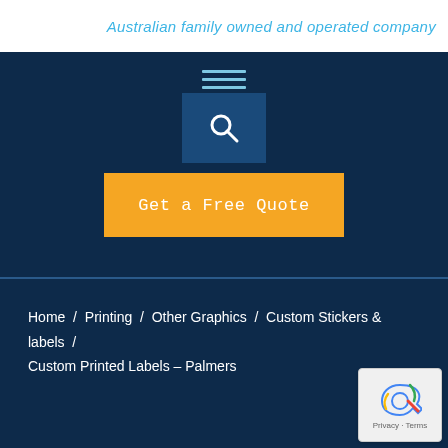Australian family owned and operated company
[Figure (screenshot): Navigation menu icon with three horizontal lines, a search box with magnifying glass icon on dark blue background, and an orange 'Get a Free Quote' button]
Home / Printing / Other Graphics / Custom Stickers & labels / Custom Printed Labels – Palmers
[Figure (logo): reCAPTCHA badge with Privacy and Terms links]